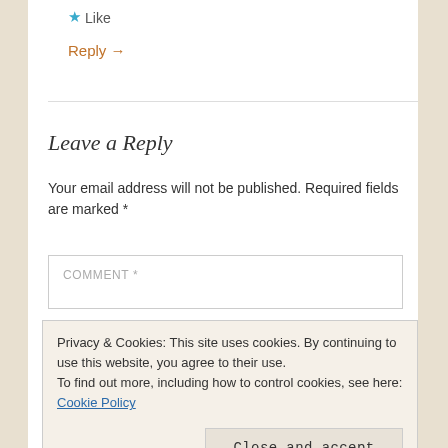★ Like
Reply →
Leave a Reply
Your email address will not be published. Required fields are marked *
COMMENT *
Privacy & Cookies: This site uses cookies. By continuing to use this website, you agree to their use.
To find out more, including how to control cookies, see here: Cookie Policy
Close and accept